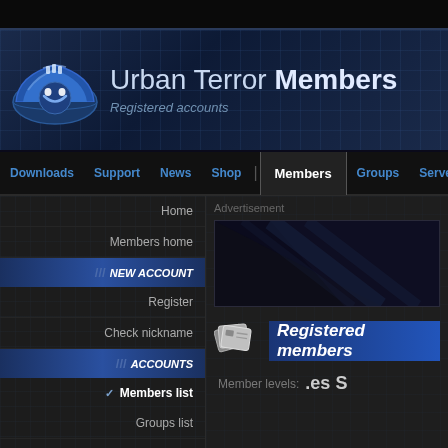Urban Terror Members — Registered accounts
Downloads | Support | News | Shop | Members | Groups | Servers | Foru...
Home
Members home
NEW ACCOUNT
Register
Check nickname
ACCOUNTS
Members list
Groups list
Bans list
ADMINS
Urt Staff
Advertisement
[Figure (screenshot): Advertisement banner area with dark blue diagonal stripe design]
[Figure (illustration): Registered members section header with blue card/ID badge icons]
Registered members
Member levels: .es S...